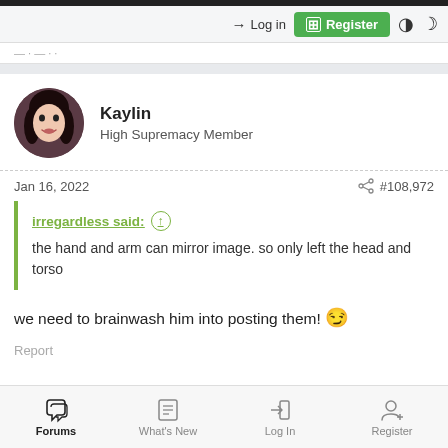Log in | Register
Kaylin
High Supremacy Member
Jan 16, 2022  #108,972
irregardless said: ↑
the hand and arm can mirror image. so only left the head and torso
we need to brainwash him into posting them! 😏
Report
Forums | What's New | Log In | Register